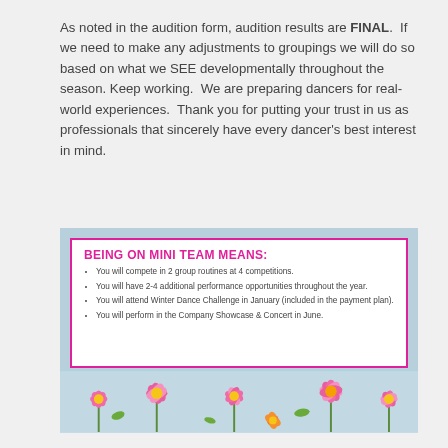As noted in the audition form, audition results are FINAL. If we need to make any adjustments to groupings we will do so based on what we SEE developmentally throughout the season. Keep working. We are preparing dancers for real-world experiences. Thank you for putting your trust in us as professionals that sincerely have every dancer's best interest in mind.
[Figure (infographic): A light blue background infographic with a white box bordered in pink. Title reads BEING ON MINI TEAM MEANS: in bold pink. Four bullet points list competition and performance details. Bottom portion shows pink flowers photo.]